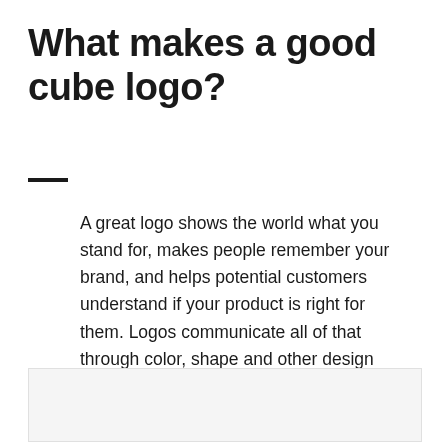What makes a good cube logo?
A great logo shows the world what you stand for, makes people remember your brand, and helps potential customers understand if your product is right for them. Logos communicate all of that through color, shape and other design elements. Learn how to make your cube logo tell your brand's story.
[Figure (other): Blank white/light gray image placeholder area at the bottom of the page]